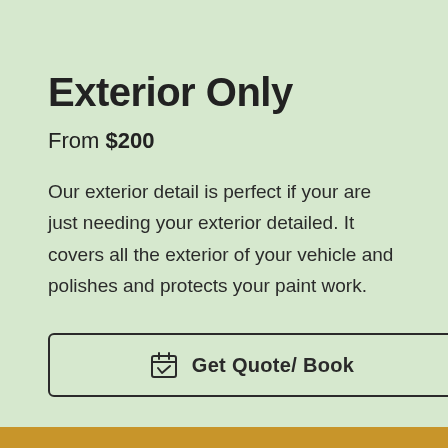Exterior Only
From $200
Our exterior detail is perfect if your are just needing your exterior detailed. It covers all the exterior of your vehicle and polishes and protects your paint work.
Get Quote/ Book
Call Now!